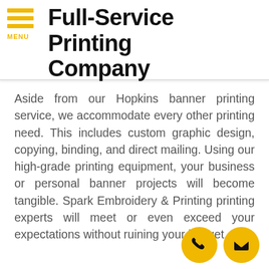MENU
Full-Service Printing Company
Aside from our Hopkins banner printing service, we accommodate every other printing need. This includes custom graphic design, copying, binding, and direct mailing. Using our high-grade printing equipment, your business or personal banner projects will become tangible. Spark Embroidery & Printing printing experts will meet or even exceed your expectations without ruining your budget.
[Figure (illustration): Two circular yellow buttons at bottom right: a phone handset icon and an envelope/mail icon]